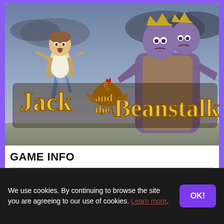[Figure (screenshot): Jack and the Beanstalk slot game promotional image showing animated characters: Jack running, a golden hen, and a large purple giant, with the game title 'Jack and the Beanstalk' in golden letters against a cloudy sky background]
GAME INFO
DEVELOPER   THEME
We use cookies. By continuing to browse the site you are agreeing to our use of cookies. Learn more.